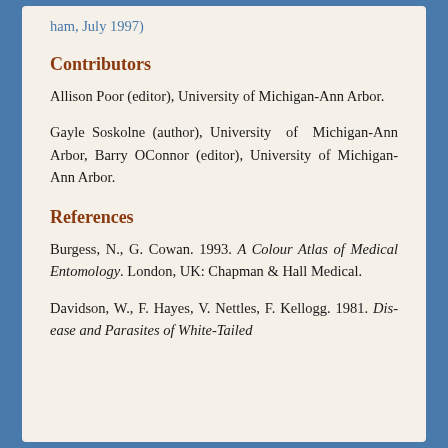ham, July 1997)
Contributors
Allison Poor (editor), University of Michigan-Ann Arbor.
Gayle Soskolne (author), University of Michigan-Ann Arbor, Barry OConnor (editor), University of Michigan-Ann Arbor.
References
Burgess, N., G. Cowan. 1993. A Colour Atlas of Medical Entomology. London, UK: Chapman & Hall Medical.
Davidson, W., F. Hayes, V. Nettles, F. Kellogg. 1981. Dis- ease and Parasites of White-Tailed